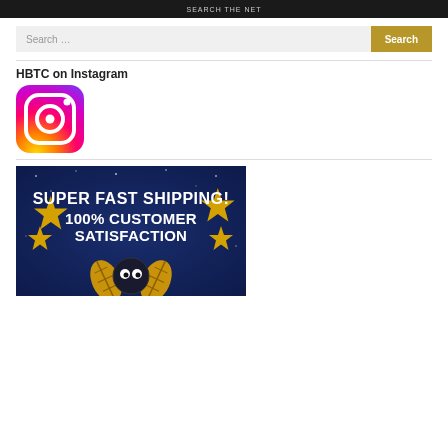SEARCH THE NET
Search ...
HBTC on Instagram
[Figure (logo): Instagram logo with gradient background (purple to pink to orange/yellow) and white camera icon]
[Figure (infographic): Dark blue night sky advertisement banner with gold stars and bold white text: SUPER FAST SHIPPING! 100% CUSTOMER SATISFACTION, with a cartoon mascot character at the bottom]